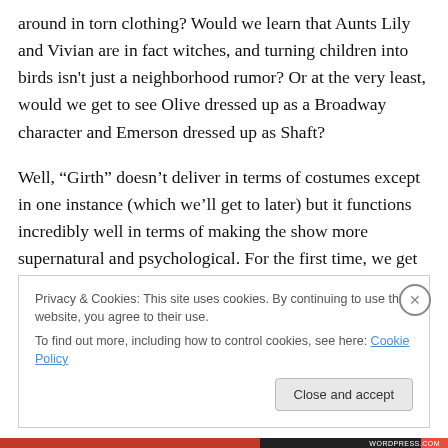around in torn clothing? Would we learn that Aunts Lily and Vivian are in fact witches, and turning children into birds isn't just a neighborhood rumor? Or at the very least, would we get to see Olive dressed up as a Broadway character and Emerson dressed up as Shaft?
Well, “Girth” doesn’t deliver in terms of costumes except in one instance (which we’ll get to later) but it functions incredibly well in terms of making the show more supernatural and psychological. For the first time, we get hints that there might be more magic to this world than
Privacy & Cookies: This site uses cookies. By continuing to use this website, you agree to their use.
To find out more, including how to control cookies, see here: Cookie Policy